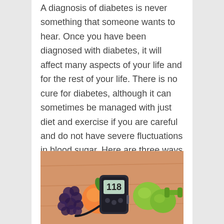A diagnosis of diabetes is never something that someone wants to hear. Once you have been diagnosed with diabetes, it will affect many aspects of your life and for the rest of your life. There is no cure for diabetes, although it can sometimes be managed with just diet and exercise if you are careful and do not have severe fluctuations in blood sugar. Here are three ways diabetes will affect your life that you may not have considered.
[Figure (photo): Photo of a blood glucose meter displaying 118, surrounded by fruits (grapes, peach, green apples) and green dumbbells on a wooden surface.]